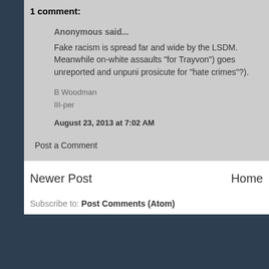1 comment:
Anonymous said...
Fake racism is spread far and wide by the LSDM. Meanwhile on-white assaults "for Trayvon") goes unreported and unpuni prosicute for "hate crimes"?).
B Woodman
III-per
August 23, 2013 at 7:02 AM
Post a Comment
Newer Post
Home
Subscribe to: Post Comments (Atom)